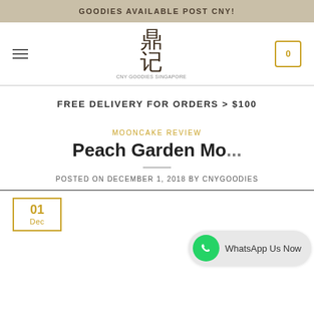GOODIES AVAILABLE POST CNY!
[Figure (logo): CNY Goodies shop logo with Chinese characters 鼎记]
FREE DELIVERY FOR ORDERS > $100
MOONCAKE REVIEW
Peach Garden Mo...
POSTED ON DECEMBER 1, 2018 BY CNYGOODIES
01 Dec
[Figure (infographic): WhatsApp Us Now button overlay with green WhatsApp icon]